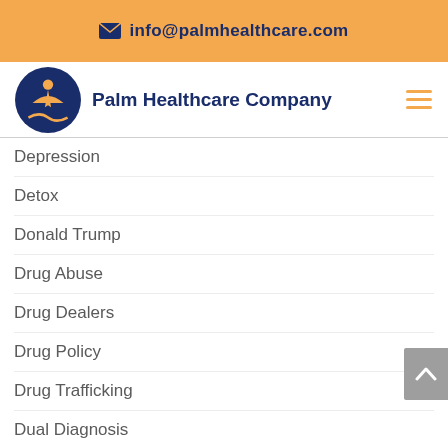info@palmhealthcare.com
[Figure (logo): Palm Healthcare Company logo: dark blue circle with orange person/star figure and swoosh, beside bold navy text 'Palm Healthcare Company' and orange hamburger menu icon]
Depression
Detox
Donald Trump
Drug Abuse
Drug Dealers
Drug Policy
Drug Trafficking
Dual Diagnosis
Ernest Hemingway
Family